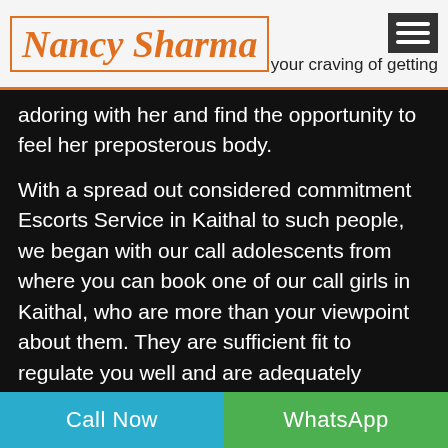Nancy Sharma
your craving of getting adoring with her and find the opportunity to feel her preposterous body.
With a spread out considered commitment Escorts Service in Kaithal to such people, we began with our call adolescents from where you can book one of our call girls in Kaithal, who are more than your viewpoint about them. They are sufficient fit to regulate you well and are adequately figured out some approach to offer you the best and satisfying escorts' service, which you will not go over any spot else. They are mind blowing accomplice to contribute energy with, so if you are expecting to use these girls to take them to bar or party, then, at that point
Call Now   WhatsApp